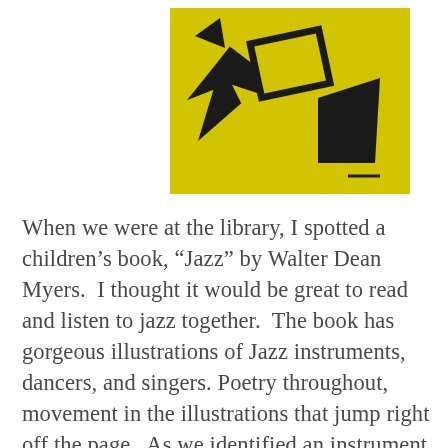[Figure (illustration): Abstract illustration with yellow background featuring geometric black shapes — triangles and angular forms suggesting movement, reminiscent of a jazz-themed book cover.]
When we were at the library, I spotted a children's book, “Jazz” by Walter Dean Myers.  I thought it would be great to read and listen to jazz together.  The book has gorgeous illustrations of Jazz instruments, dancers, and singers.  Poetry throughout, movement in the illustrations that jump right off the page.  As we identified an instrument, we would make